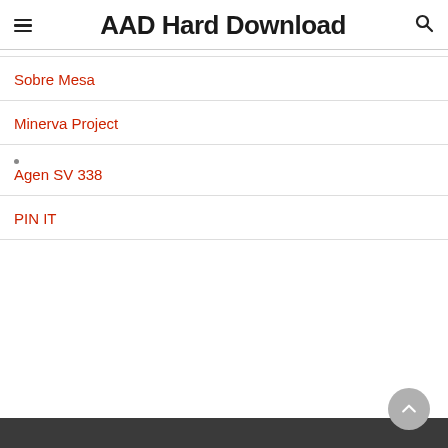AAD Hard Download
Sobre Mesa
Minerva Project
Agen SV 338
PIN IT